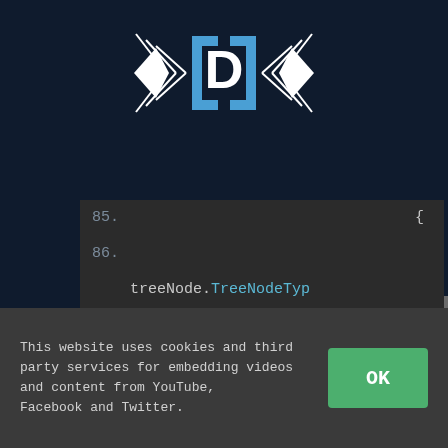[Figure (logo): Diamond-shaped logo with angular white arrows pointing left and right, and a blue bracket and letter D in the center on a dark navy background]
[Figure (screenshot): Navigation bar with 'Go to...' text on dark gray background and a hamburger menu icon on the right]
[Figure (screenshot): Code editor panel showing lines 85-91 with code: treeNode.TreeNodeTyp and treeNode.AOTLayers() on dark gray background]
This website uses cookies and third party services for embedding videos and content from YouTube, Facebook and Twitter.